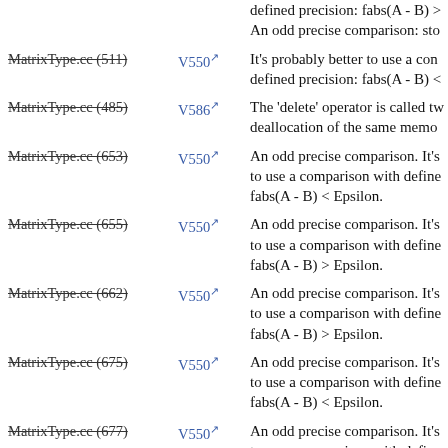MatrixType.cc (511) V550 An odd precise comparison: sto... It's probably better to use a comparison with defined precision: fabs(A - B) <
MatrixType.cc (485) V586 The 'delete' operator is called tw... deallocation of the same memo...
MatrixType.cc (653) V550 An odd precise comparison. It's to use a comparison with defined fabs(A - B) < Epsilon.
MatrixType.cc (655) V550 An odd precise comparison. It's to use a comparison with defined fabs(A - B) > Epsilon.
MatrixType.cc (662) V550 An odd precise comparison. It's to use a comparison with defined fabs(A - B) > Epsilon.
MatrixType.cc (675) V550 An odd precise comparison. It's to use a comparison with defined fabs(A - B) < Epsilon.
MatrixType.cc (677) V550 An odd precise comparison. It's to use a comparison with defined fabs(A - B) > Epsilon.
MatrixType.cc (707) V550 An odd precise comparison. It's to use a comparison with defined fabs(A - B) < Epsilon.
An odd precise comparison. It's...